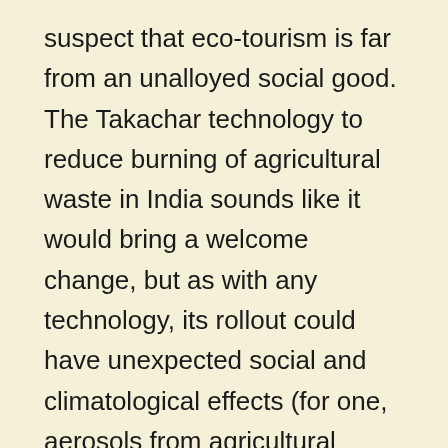suspect that eco-tourism is far from an unalloyed social good. The Takachar technology to reduce burning of agricultural waste in India sounds like it would bring a welcome change, but as with any technology, its rollout could have unexpected social and climatological effects (for one, aerosols from agricultural burning likely cool the atmosphere in India right now, so widespread implementation of this technology could result in higher temperatures there, even while reducing overall carbon emissions and improving air quality.)The coral project sounds good, although it does not deal with larger context of climate change that is killing coral. The Milan food waste